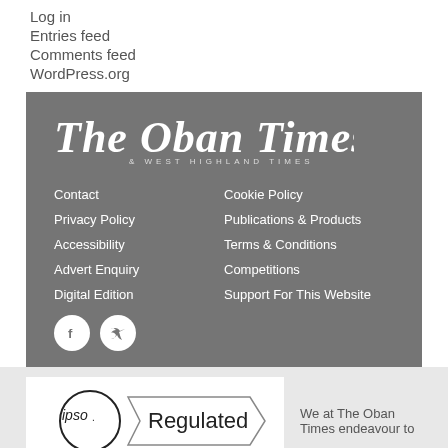Log in
Entries feed
Comments feed
WordPress.org
[Figure (logo): The Oban Times & West Highland Times masthead logo in white serif/blackletter font on gray background]
Contact
Cookie Policy
Privacy Policy
Publications & Products
Accessibility
Terms & Conditions
Advert Enquiry
Competitions
Digital Edition
Support For This Website
[Figure (logo): IPSO Regulated logo - circle with 'ipso.' text and banner with 'Regulated']
We at The Oban Times endeavour to